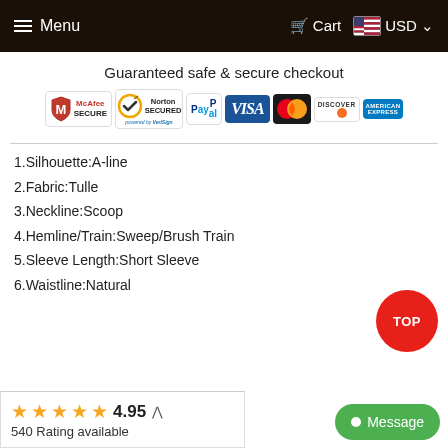Menu   Cart   USD
Guaranteed safe & secure checkout
[Figure (logo): Payment security badges: McAfee SECURE, Norton SECURED powered by VeriSign, PayPal, VISA, Mastercard, Discover, American Express]
1.Silhouette:A-line
2.Fabric:Tulle
3.Neckline:Scoop
4.Hemline/Train:Sweep/Brush Train
5.Sleeve Length:Short Sleeve
6.Waistline:Natural
4.95   540 Rating available
TOP
Message